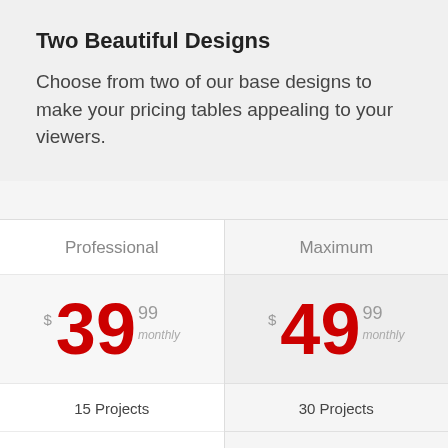Two Beautiful Designs
Choose from two of our base designs to make your pricing tables appealing to your viewers.
| Professional | Maximum |
| --- | --- |
| $39.99 monthly | $49.99 monthly |
| 15 Projects | 30 Projects |
| 30 GB Storage | 100 GB Storage |